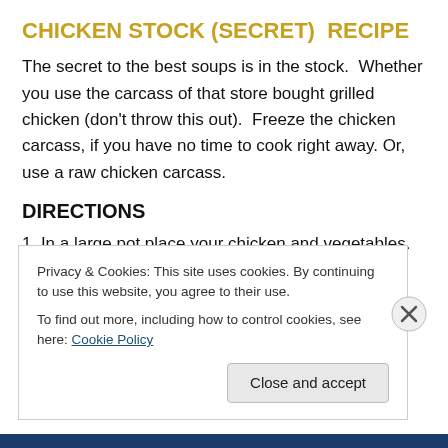CHICKEN STOCK (SECRET)  RECIPE
The secret to the best soups is in the stock.  Whether you use the carcass of that store bought grilled chicken (don't throw this out).  Freeze the chicken carcass, if you have no time to cook right away. Or,  use a raw chicken carcass.
DIRECTIONS
1. In a large pot place your chicken and vegetables.
2. Add water: enough to cover all the ingredients.
3. Add your favorite herbs, spices and peppercorn. Fresh is best. (optional)
Privacy & Cookies: This site uses cookies. By continuing to use this website, you agree to their use.
To find out more, including how to control cookies, see here: Cookie Policy